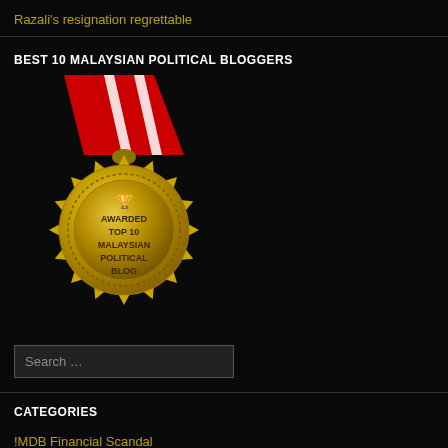Razali's resignation regrettable
BEST 10 MALAYSIAN POLITICAL BLOGGERS
[Figure (illustration): Gold award medal with red and white ribbon. Text on medal reads: AWARDED TOP 10 MALAYSIAN POLITICAL BLOG with a trophy icon at the top.]
Search …
CATEGORIES
!MDB Financial Scandal
11th Malaysia Plan
1MDB Financial Scandal